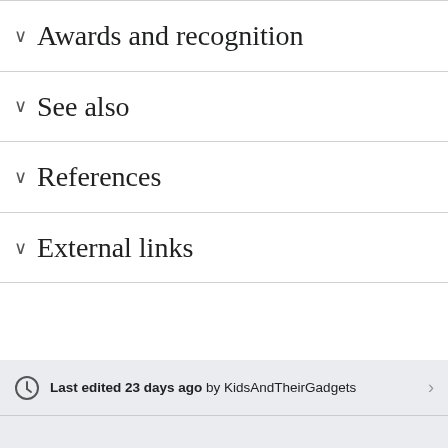Awards and recognition
See also
References
External links
Last edited 23 days ago by KidsAndTheirGadgets